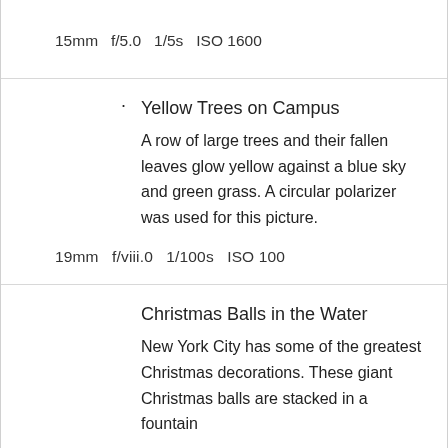15mm  f/5.0  1/5s  ISO 1600
Yellow Trees on Campus
A row of large trees and their fallen leaves glow yellow against a blue sky and green grass. A circular polarizer was used for this picture.
19mm  f/viii.0  1/100s  ISO 100
Christmas Balls in the Water
New York City has some of the greatest Christmas decorations. These giant Christmas balls are stacked in a fountain